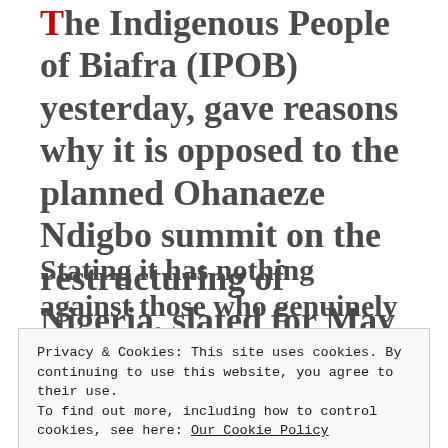The Indigenous People of Biafra (IPOB) yesterday, gave reasons why it is opposed to the planned Ohanaeze Ndigbo summit on the restructuring of Nigeria, slated for May 21 in Awka, Anambra State.
Stating it has nothing against those who genuinely believe restructuring would best address the…
Privacy & Cookies: This site uses cookies. By continuing to use this website, you agree to their use.
To find out more, including how to control cookies, see here: Our Cookie Policy
Close and accept
attack and kill its members,